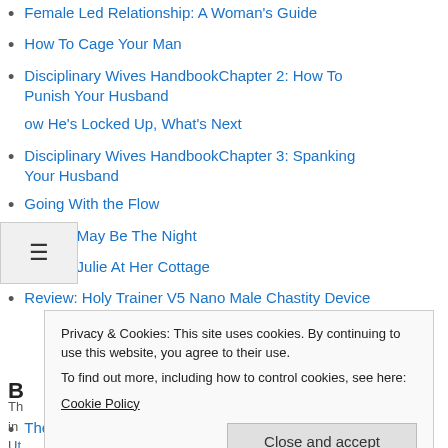Female Led Relationship: A Woman's Guide
How To Cage Your Man
Disciplinary Wives HandbookChapter 2: How To Punish Your Husband
ow He's Locked Up, What's Next
Disciplinary Wives HandbookChapter 3: Spanking Your Husband
Going With the Flow
Tonight May Be The Night
Visiting Julie At Her Cottage
Review: Holy Trainer V5 Nano Male Chastity Device
Privacy & Cookies: This site uses cookies. By continuing to use this website, you agree to their use.
To find out more, including how to control cookies, see here:
Cookie Policy
The Club - Meeting 407 - Arguing, Multiple Offenses &